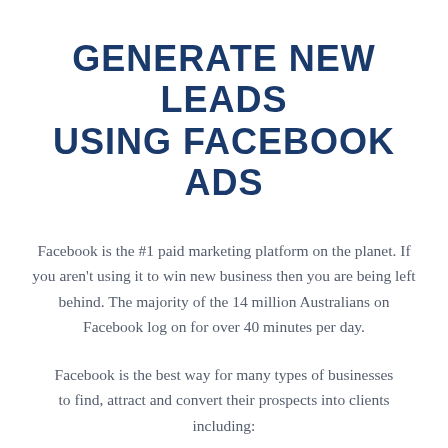GENERATE NEW LEADS USING FACEBOOK ADS
Facebook is the #1 paid marketing platform on the planet. If you aren't using it to win new business then you are being left behind. The majority of the 14 million Australians on Facebook log on for over 40 minutes per day.
Facebook is the best way for many types of businesses to find, attract and convert their prospects into clients including: